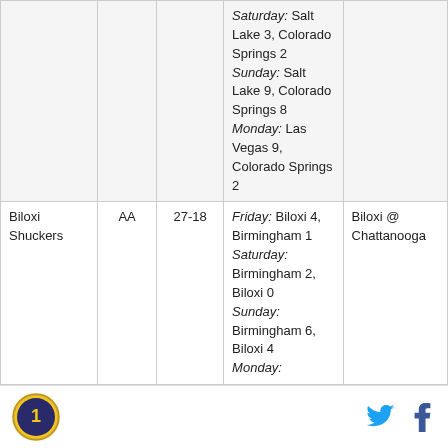| Team | Level | Record | Recent Results | Upcoming |
| --- | --- | --- | --- | --- |
|  |  |  | Saturday: Salt Lake 3, Colorado Springs 2
Sunday: Salt Lake 9, Colorado Springs 8
Monday: Las Vegas 9, Colorado Springs 2 |  |
| Biloxi Shuckers | AA | 27-18 | Friday: Biloxi 4, Birmingham 1
Saturday: Birmingham 2, Biloxi 0
Sunday: Birmingham 6, Biloxi 4
Monday: | Biloxi @ Chattanooga |
Logo | Twitter | Facebook